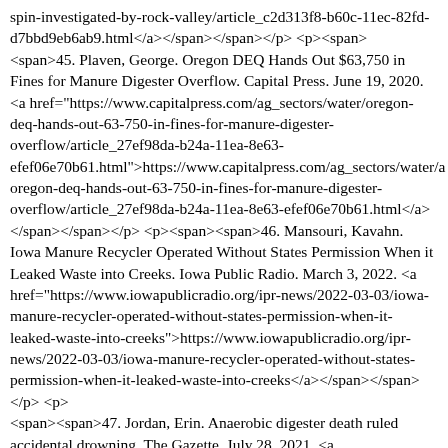spin-investigated-by-rock-valley/article_c2d313f8-b60c-11ec-82fd-d7bbd9eb6ab9.html</a></span></span></p> <p><span><span>45. Plaven, George. Oregon DEQ Hands Out $63,750 in Fines for Manure Digester Overflow. Capital Press. June 19, 2020. <a href="https://www.capitalpress.com/ag_sectors/water/oregon-deq-hands-out-63-750-in-fines-for-manure-digester-overflow/article_27ef98da-b24a-11ea-8e63-efef06e70b61.html">https://www.capitalpress.com/ag_sectors/water/oregon-deq-hands-out-63-750-in-fines-for-manure-digester-overflow/article_27ef98da-b24a-11ea-8e63-efef06e70b61.html</a></span></span></p> <p><span><span>46. Mansouri, Kavahn. Iowa Manure Recycler Operated Without States Permission When it Leaked Waste into Creeks. Iowa Public Radio. March 3, 2022. <a href="https://www.iowapublicradio.org/ipr-news/2022-03-03/iowa-manure-recycler-operated-without-states-permission-when-it-leaked-waste-into-creeks">https://www.iowapublicradio.org/ipr-news/2022-03-03/iowa-manure-recycler-operated-without-states-permission-when-it-leaked-waste-into-creeks</a></span></span></p> <p><span><span>47. Jordan, Erin. Anaerobic digester death ruled accidental drowning. The Gazette. July 28, 2021. <a href="https://www.thegazette.com/agriculture/anaerobic-digester-death-ruled-accidental-drowning/">https://www.thegazette.com/agriculture/anaerobic-digester-death-ruled-accidental-drowning/</a></span></span>